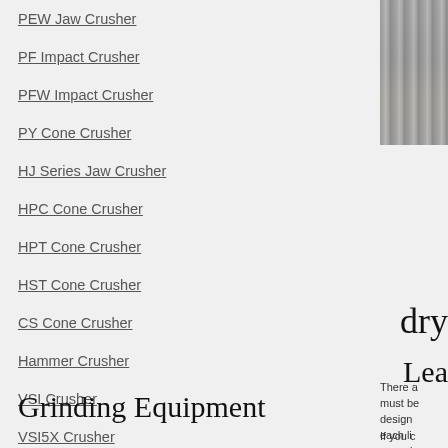PEW Jaw Crusher
PF Impact Crusher
PFW Impact Crusher
PY Cone Crusher
HJ Series Jaw Crusher
HPC Cone Crusher
HPT Cone Crusher
HST Cone Crusher
CS Cone Crusher
Hammer Crusher
VSI Crusher
VSI5X Crusher
[Figure (photo): Industrial crushing equipment, partially visible on right edge of page]
dry
There a must be design each li commis qualifie
Lea
If you c
Grinding Equipment